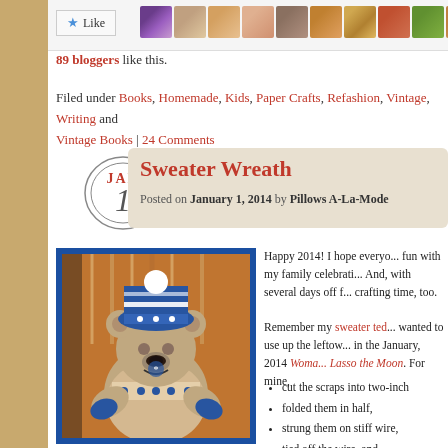[Figure (other): Like button with star icon and row of blogger avatars]
89 bloggers like this.
Filed under Books, Homemade, Kids, Paper Crafts, Refashion, Vintage, Writing and Vintage Books | 24 Comments
[Figure (other): JAN 1 date circle illustration with hand-drawn circles]
Sweater Wreath
Posted on January 1, 2014 by Pillows A-La-Mode
[Figure (photo): Photo of a knitted sweater bear toy with Nordic pattern, blue hat and mittens, standing against a background of woven baskets]
Happy 2014! I hope everyone had fun with my family celebrating. And, with several days off from crafting time, too.
Remember my sweater teddy wanted to use up the leftover in the January, 2014 Woman Lasso the Moon. For mine,
cut the scraps into two-inch
folded them in half,
strung them on stiff wire,
tied off the wire, and